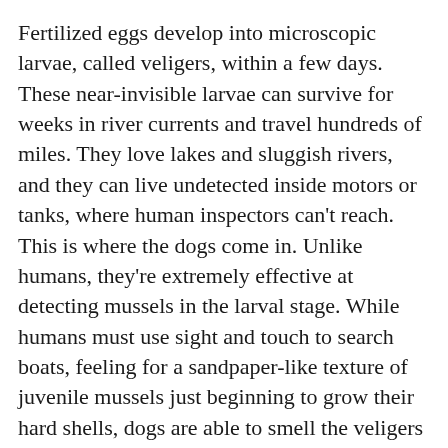Fertilized eggs develop into microscopic larvae, called veligers, within a few days. These near-invisible larvae can survive for weeks in river currents and travel hundreds of miles. They love lakes and sluggish rivers, and they can live undetected inside motors or tanks, where human inspectors can't reach. This is where the dogs come in. Unlike humans, they're extremely effective at detecting mussels in the larval stage. While humans must use sight and touch to search boats, feeling for a sandpaper-like texture of juvenile mussels just beginning to grow their hard shells, dogs are able to smell the veligers in water, where they're completely invisible to humans.
“For dogs like Lily,” says Hurt, “this is the most fun thing they could do.”